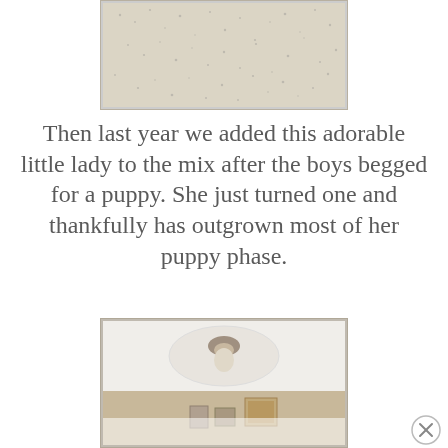[Figure (photo): Close-up photo of beige/off-white carpet texture with dark speckles, framed with a thin light border]
Then last year we added this adorable little lady to the mix after the boys begged for a puppy. She just turned one and thankfully has outgrown most of her puppy phase.
[Figure (photo): Interior room photo showing a ceiling with a ceiling fan/light fixture, tan/beige walls, and framed artwork visible, partially cut off at bottom with a faded overlay]
[Figure (other): Close button (X in circle) in bottom right corner]